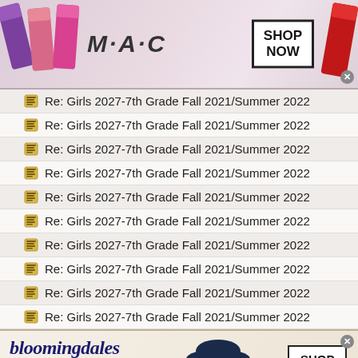[Figure (screenshot): MAC cosmetics advertisement banner with lipsticks, MAC logo, and SHOP NOW button]
Re: Girls 2027-7th Grade Fall 2021/Summer 2022
Re: Girls 2027-7th Grade Fall 2021/Summer 2022
Re: Girls 2027-7th Grade Fall 2021/Summer 2022
Re: Girls 2027-7th Grade Fall 2021/Summer 2022
Re: Girls 2027-7th Grade Fall 2021/Summer 2022
Re: Girls 2027-7th Grade Fall 2021/Summer 2022
Re: Girls 2027-7th Grade Fall 2021/Summer 2022
Re: Girls 2027-7th Grade Fall 2021/Summer 2022
Re: Girls 2027-7th Grade Fall 2021/Summer 2022
Re: Girls 2027-7th Grade Fall 2021/Summer 2022
[Figure (screenshot): Bloomingdale's advertisement banner with hat figure and SHOP NOW button]